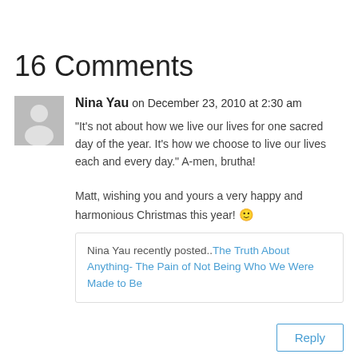16 Comments
Nina Yau on December 23, 2010 at 2:30 am
“It’s not about how we live our lives for one sacred day of the year. It’s how we choose to live our lives each and every day.” A-men, brutha!

Matt, wishing you and yours a very happy and harmonious Christmas this year! 🙂
Nina Yau recently posted..The Truth About Anything- The Pain of Not Being Who We Were Made to Be
Reply